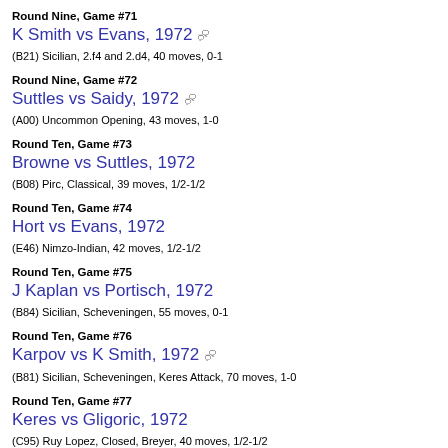Round Nine, Game #71
K Smith vs Evans, 1972
(B21) Sicilian, 2.f4 and 2.d4, 40 moves, 0-1
Round Nine, Game #72
Suttles vs Saidy, 1972
(A00) Uncommon Opening, 43 moves, 1-0
Round Ten, Game #73
Browne vs Suttles, 1972
(B08) Pirc, Classical, 39 moves, 1/2-1/2
Round Ten, Game #74
Hort vs Evans, 1972
(E46) Nimzo-Indian, 42 moves, 1/2-1/2
Round Ten, Game #75
J Kaplan vs Portisch, 1972
(B84) Sicilian, Scheveningen, 55 moves, 0-1
Round Ten, Game #76
Karpov vs K Smith, 1972
(B81) Sicilian, Scheveningen, Keres Attack, 70 moves, 1-0
Round Ten, Game #77
Keres vs Gligoric, 1972
(C95) Ruy Lopez, Closed, Breyer, 40 moves, 1/2-1/2